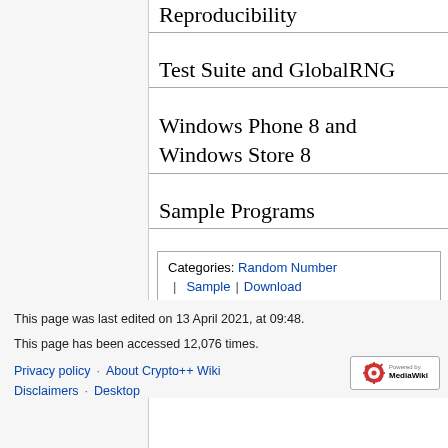Reproducibility
Test Suite and GlobalRNG
Windows Phone 8 and Windows Store 8
Sample Programs
Categories:  Random Number | Sample | Download
This page was last edited on 13 April 2021, at 09:48.
This page has been accessed 12,076 times.
Privacy policy  About Crypto++ Wiki  Disclaimers  Desktop